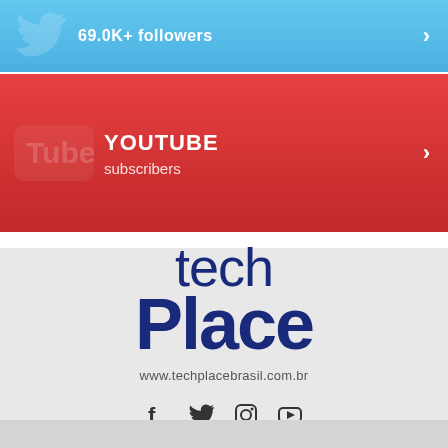[Figure (screenshot): Twitter social bar with 69.0K+ followers badge and arrow]
[Figure (screenshot): YouTube social bar with YOUTUBE label and subscribers text and arrow]
[Figure (logo): techPlace logo with website www.techplacebrasil.com.br and social media icons (Facebook, Twitter, Instagram, YouTube)]